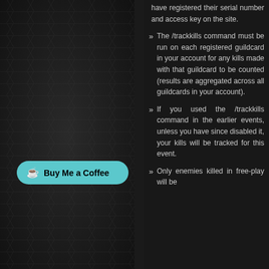[Figure (other): Buy Me a Coffee button with teal/cyan rounded pill shape, coffee cup icon with heart, text 'Buy Me a Coffee']
Twitter
Mar 29, 2022 22:39:53 UTC:
@El_Comanche There is indeed a discord for the server, where many players communicate: https://t.co/YcpDXGU4JH There is also a forum: https://t.co/6EYlEOzpg7 , although more people are definitely on the discord these days. Hope you enjoy the server. :)
Jan 01, 2022 04:36:15 UTC:
New Sylverant Event beginning soon - New Year's Celebration: https://t.co/sruZJ11cNu #pso #sylverant
Dec 09, 2021 21:22:38 UTC:
@dragonminded @GabeMoralesVR @Artemio Yeah, KOS definitely hasn't had support for "years" just yet, can't say 2
have registered their serial number and access key on the site.
The /trackkills command must be run on each registered guildcard in your account for any kills made with that guildcard to be counted (results are aggregated across all guildcards in your account).
If you used the /trackkills command in the earlier events, unless you have since disabled it, your kills will be tracked for this event.
Only enemies killed in free-play will be